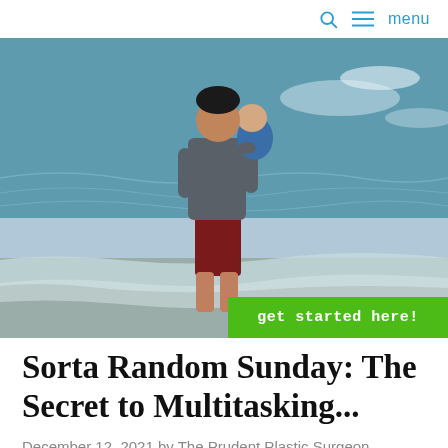🔍  ≡ menu
[Figure (photo): A man in a grey t-shirt and red shorts standing at the water's edge, holding a baby, with ocean waves in the background.]
get started here!
Sorta Random Sunday: The Secret to Multitasking...
December 12, 2021 by The Prudent Plastic Surgeon